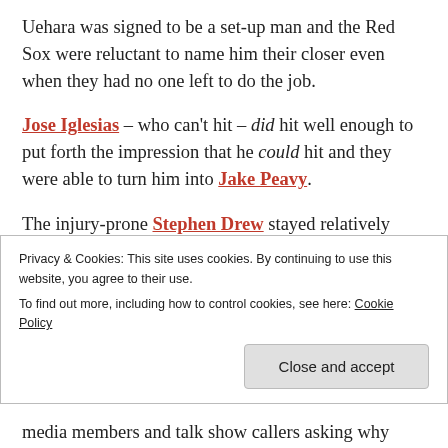Uehara was signed to be a set-up man and the Red Sox were reluctant to name him their closer even when they had no one left to do the job.
Jose Iglesias – who can't hit – did hit well enough to put forth the impression that he could hit and they were able to turn him into Jake Peavy.
The injury-prone Stephen Drew stayed relatively healthy, played sound defense and hit with a little pop. The only reason the Red Sox got him on a one-year contract was because he wanted to replenish his value for future...
Privacy & Cookies: This site uses cookies. By continuing to use this website, you agree to their use. To find out more, including how to control cookies, see here: Cookie Policy
media members and talk show callers asking why